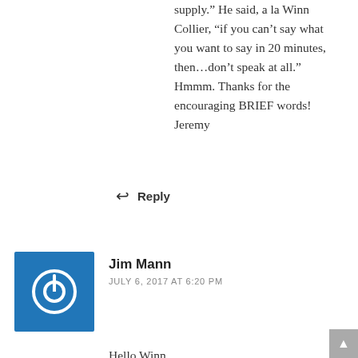supply." He said, a la Winn Collier, "if you can't say what you want to say in 20 minutes, then...don't speak at all." Hmmm. Thanks for the encouraging BRIEF words! Jeremy
↩ Reply
Jim Mann
JULY 6, 2017 AT 6:20 PM
Hello Winn,
Thought I might edit your latest post for you:
"We're drowning in words. Anytime we can cut three words to one, do it. If we writers or preachers or teachers
do not have piercing clarity, then perhaps our work is not finished. Dostoevsky once wrote 'Beauty will save the world'. And words with